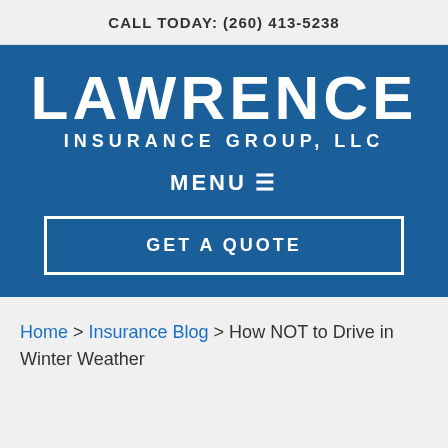CALL TODAY: (260) 413-5238
[Figure (logo): Lawrence Insurance Group, LLC logo — white text on blue background]
MENU ☰
GET A QUOTE
Home > Insurance Blog > How NOT to Drive in Winter Weather